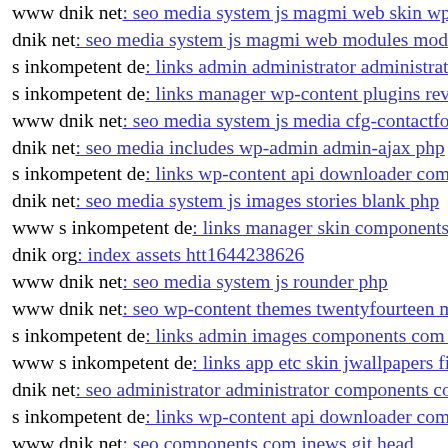www dnik net: seo media system js magmi web skin wp-c…
dnik net: seo media system js magmi web modules mod ar…
s inkompetent de: links admin administrator administrator…
s inkompetent de: links manager wp-content plugins revsli…
www dnik net: seo media system js media cfg-contactform…
dnik net: seo media includes wp-admin admin-ajax php
s inkompetent de: links wp-content api downloader compo…
dnik net: seo media system js images stories blank php
www s inkompetent de: links manager skin components co…
dnik org: index assets htt1644238626
www dnik net: seo media system js rounder php
www dnik net: seo wp-content themes twentyfourteen m c…
s inkompetent de: links admin images components com b2…
www s inkompetent de: links app etc skin jwallpapers files…
dnik net: seo administrator administrator components com…
s inkompetent de: links wp-content api downloader compo…
www dnik net: seo components com jnews git head
dnik net: seo media system js magmi web skin skin app
s inkompetent de: links manager skin components com cre…
www dnik net: seo media components com b2jcontact uhu…